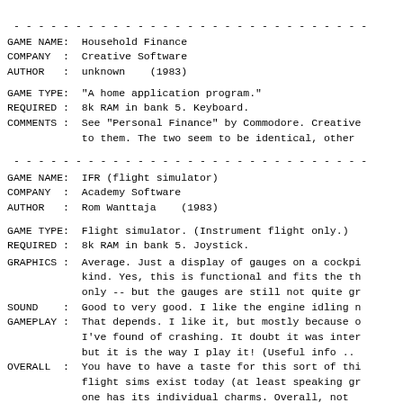- - - - - - - - - - - - - - - - - - - - - - - - - - - - -
GAME NAME:  Household Finance
COMPANY  :  Creative Software
AUTHOR   :  unknown    (1983)
GAME TYPE:  "A home application program."
REQUIRED :  8k RAM in bank 5. Keyboard.
COMMENTS :  See "Personal Finance" by Commodore. Creative
            to them. The two seem to be identical, other
- - - - - - - - - - - - - - - - - - - - - - - - - - - - -
GAME NAME:  IFR (flight simulator)
COMPANY  :  Academy Software
AUTHOR   :  Rom Wanttaja    (1983)
GAME TYPE:  Flight simulator. (Instrument flight only.)
REQUIRED :  8k RAM in bank 5. Joystick.
GRAPHICS :  Average. Just a display of gauges on a cockpi
            kind. Yes, this is functional and fits the th
            only -- but the gauges are still not quite gr
SOUND    :  Good to very good. I like the engine idling n
GAMEPLAY :  That depends. I like it, but mostly because o
            I've found of crashing. It doubt it was inter
            but it is the way I play it! (Useful info ..
OVERALL  :  You have to have a taste for this sort of thi
            flight sims exist today (at least speaking gr
            one has its individual charms. Overall, not